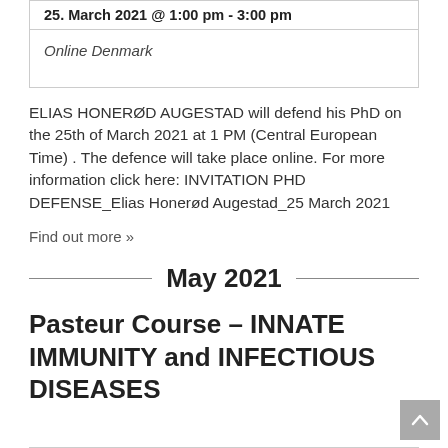| 25. March 2021 @ 1:00 pm - 3:00 pm |
| Online Denmark |
ELIAS HONERØD AUGESTAD will defend his PhD on the 25th of March 2021 at 1 PM (Central European Time) . The defence will take place online. For more information click here: INVITATION PHD DEFENSE_Elias Honerød Augestad_25 March 2021
Find out more »
May 2021
Pasteur Course – INNATE IMMUNITY and INFECTIOUS DISEASES